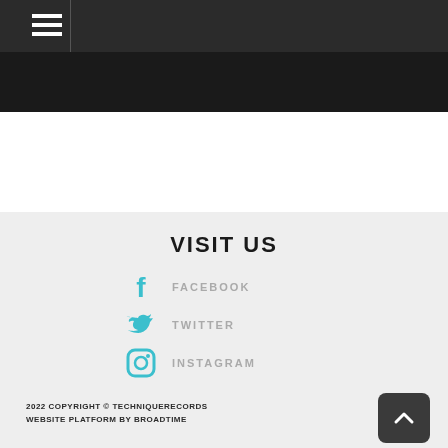Navigation menu bar
[Figure (screenshot): Dark header bar with hamburger menu icon and dark image strip below]
VISIT US
FACEBOOK
TWITTER
INSTAGRAM
EMAIL
2022 COPYRIGHT © TECHNIQUERECORDS
WEBSITE PLATFORM BY BROADTIME